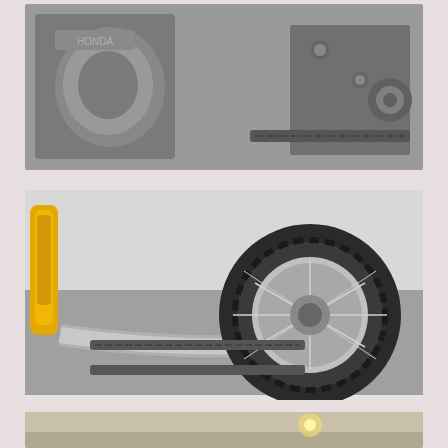[Figure (photo): Close-up of a Honda motorcycle engine, chain, and mechanical parts in silver/grey tones.]
[Figure (photo): Close-up of a dirt bike rear wheel with knobby off-road tire, spoked rim, swingarm, chain, and yellow rear shock absorber.]
When I got back I chained it up in the carport, took a shower, and the trip was done.
[Figure (photo): Person standing in a carport or garage area, partially visible at bottom of page.]